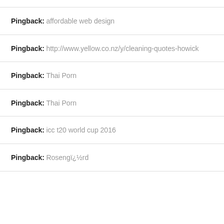Pingback: affordable web design
Pingback: http://www.yellow.co.nz/y/cleaning-quotes-howick
Pingback: Thai Porn
Pingback: Thai Porn
Pingback: icc t20 world cup 2016
Pingback: Rosengï¿½rd